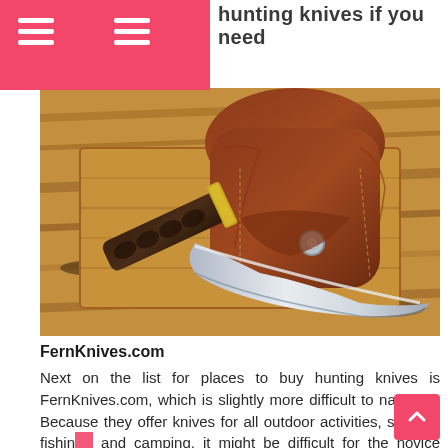hunting knives if you need
[Figure (photo): A hunting knife with a dark wood handle and brass guard, placed next to a brown leather sheath with a snap button, both resting on a wooden cutting board surface.]
FernKnives.com
Next on the list for places to buy hunting knives is FernKnives.com, which is slightly more difficult to navigate. Because they offer knives for all outdoor activities, such as fishing and camping, it might be difficult for the novice hunter to find what he needs.